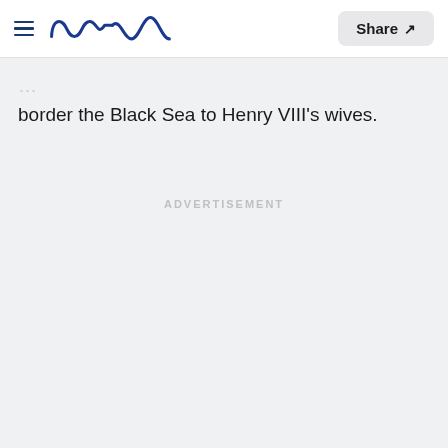Meanww | Share
border the Black Sea to Henry VIII's wives.
ADVERTISEMENT